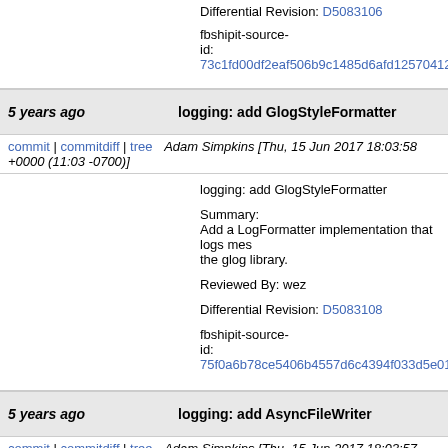Differential Revision: D5083106
fbshipit-source-id: 73c1fd00df2eaf506b9c1485d6afd12570412a0f
5 years ago   logging: add GlogStyleFormatter
commit | commitdiff | tree   Adam Simpkins [Thu, 15 Jun 2017 18:03:58 +0000 (11:03 -0700)]
logging: add GlogStyleFormatter

Summary:
Add a LogFormatter implementation that logs mes the glog library.

Reviewed By: wez

Differential Revision: D5083108

fbshipit-source-id: 75f0a6b78ce5406b4557d6c4394f033d5e019f7
5 years ago   logging: add AsyncFileWriter
commit | commitdiff | tree   Adam Simpkins [Thu, 15 Jun 2017 18:03:57 +0000 (11:03 -0700)]
logging: add AsyncFileWriter